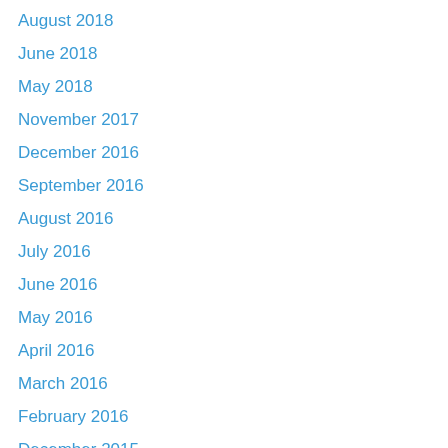August 2018
June 2018
May 2018
November 2017
December 2016
September 2016
August 2016
July 2016
June 2016
May 2016
April 2016
March 2016
February 2016
December 2015
October 2015
September 2015
August 2015
June 2015
May 2015
April 2015